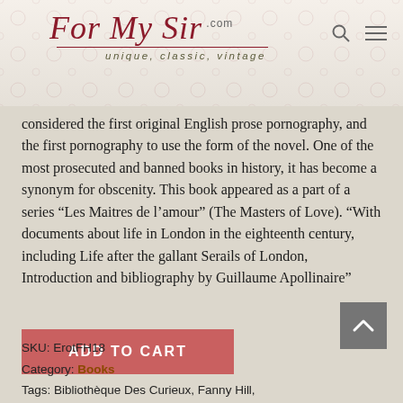For My Sir .com unique, classic, vintage
considered the first original English prose pornography, and the first pornography to use the form of the novel. One of the most prosecuted and banned books in history, it has become a synonym for obscenity. This book appeared as a part of a series “Les Maitres de l’amour” (The Masters of Love). “With documents about life in London in the eighteenth century, including Life after the gallant Serails of London, Introduction and bibliography by Guillaume Apollinaire”
ADD TO CART
SKU: ErotFH18
Category: Books
Tags: Bibliothèque Des Curieux, Fanny Hill,
[Figure (other): Scroll to top button (upward chevron on grey square background)]